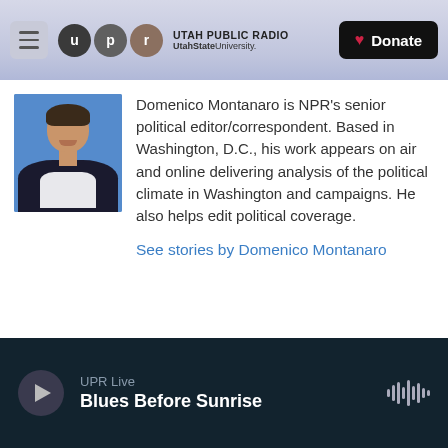UTAH PUBLIC RADIO — UtahState University — Donate
[Figure (photo): Headshot photo of Domenico Montanaro, a man in a dark jacket and white shirt against a blue background, smiling]
Domenico Montanaro is NPR's senior political editor/correspondent. Based in Washington, D.C., his work appears on air and online delivering analysis of the political climate in Washington and campaigns. He also helps edit political coverage.
See stories by Domenico Montanaro
UPR Live
Blues Before Sunrise